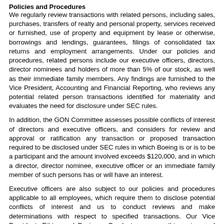Policies and Procedures
We regularly review transactions with related persons, including sales, purchases, transfers of realty and personal property, services received or furnished, use of property and equipment by lease or otherwise, borrowings and lendings, guarantees, filings of consolidated tax returns and employment arrangements. Under our policies and procedures, related persons include our executive officers, directors, director nominees and holders of more than 5% of our stock, as well as their immediate family members. Any findings are furnished to the Vice President, Accounting and Financial Reporting, who reviews any potential related person transactions identified for materiality and evaluates the need for disclosure under SEC rules.
In addition, the GON Committee assesses possible conflicts of interest of directors and executive officers, and considers for review and approval or ratification any transaction or proposed transaction required to be disclosed under SEC rules in which Boeing is or is to be a participant and the amount involved exceeds $120,000, and in which a director, director nominee, executive officer or an immediate family member of such persons has or will have an interest.
Executive officers are also subject to our policies and procedures applicable to all employees, which require them to disclose potential conflicts of interest and us to conduct reviews and make determinations with respect to specified transactions. Our Vice President, Ethics and Business Conduct, oversees this review and determination, and refers to the GON Committee for review and approval or ratification possible conflicts of interest involving executive officers. The factors considered in making the determination include the executive officer's duties and responsibilities toward us and, if the transaction includes another company,